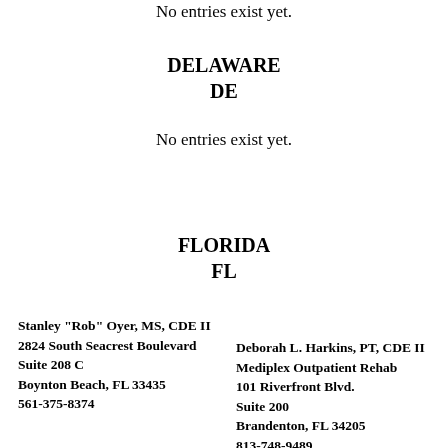No entries exist yet.
DELAWARE
DE
No entries exist yet.
FLORIDA
FL
Stanley "Rob" Oyer, MS, CDE II
2824 South Seacrest Boulevard
Suite 208 C
Boynton Beach, FL 33435
561-375-8374
Deborah L. Harkins, PT, CDE II
Mediplex Outpatient Rehab
101 Riverfront Blvd.
Suite 200
Brandenton, FL 34205
813-748-9489